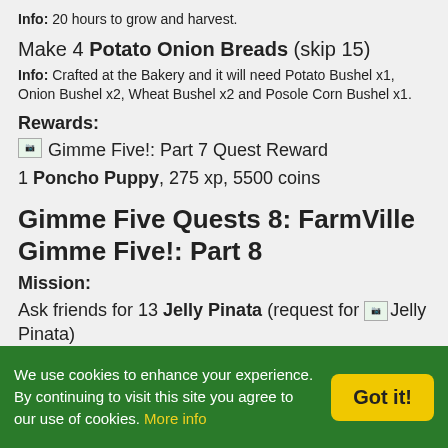Info: 20 hours to grow and harvest.
Make 4 Potato Onion Breads (skip 15)
Info: Crafted at the Bakery and it will need Potato Bushel x1, Onion Bushel x2, Wheat Bushel x2 and Posole Corn Bushel x1.
Rewards:
[Gimme Five!: Part 7 Quest Reward] 1 Poncho Puppy, 275 xp, 5500 coins
Gimme Five Quests 8: FarmVille Gimme Five!: Part 8
Mission:
Ask friends for 13 Jelly Pinata (request for [Jelly Pinata])
Harvest 220 Pineapple (skip 10)
Info: 2 days to grow and harvest. (Hilo Pineapple may also count – 14 hours)
Make 4 Daiquiris (skip 15)
We use cookies to enhance your experience. By continuing to visit this site you agree to our use of cookies. More info